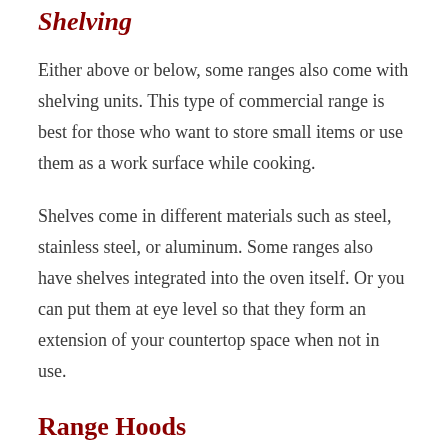Shelving
Either above or below, some ranges also come with shelving units. This type of commercial range is best for those who want to store small items or use them as a work surface while cooking.
Shelves come in different materials such as steel, stainless steel, or aluminum. Some ranges also have shelves integrated into the oven itself. Or you can put them at eye level so that they form an extension of your countertop space when not in use.
Range Hoods